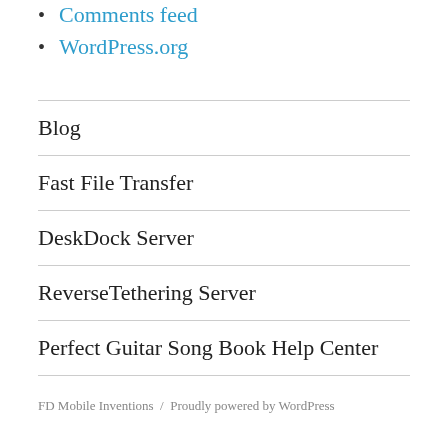Comments feed
WordPress.org
Blog
Fast File Transfer
DeskDock Server
ReverseTethering Server
Perfect Guitar Song Book Help Center
FD Mobile Inventions  /  Proudly powered by WordPress